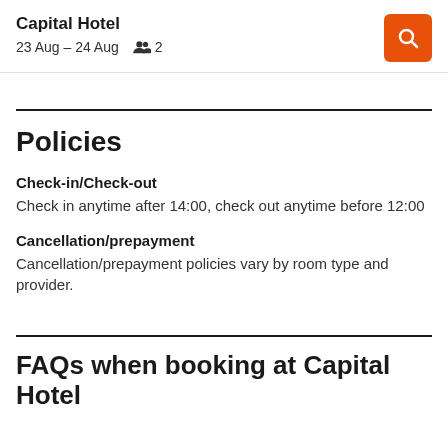Capital Hotel
23 Aug – 24 Aug  👥 2
Policies
Check-in/Check-out
Check in anytime after 14:00, check out anytime before 12:00
Cancellation/prepayment
Cancellation/prepayment policies vary by room type and provider.
FAQs when booking at Capital Hotel